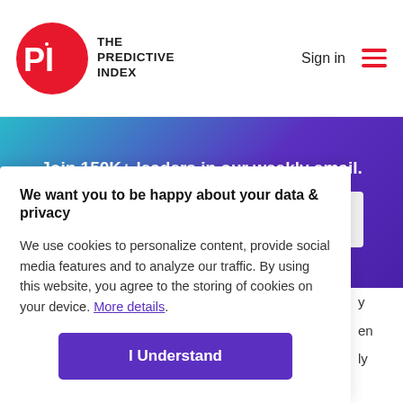[Figure (logo): The Predictive Index logo: red circle with PI letters and name text beside it]
Sign in
[Figure (illustration): Red hamburger menu icon (three horizontal lines)]
Join 150K+ leaders in our weekly email.
Subscribe
We want you to be happy about your data & privacy
We use cookies to personalize content, provide social media features and to analyze our traffic. By using this website, you agree to the storing of cookies on your device. More details.
I Understand